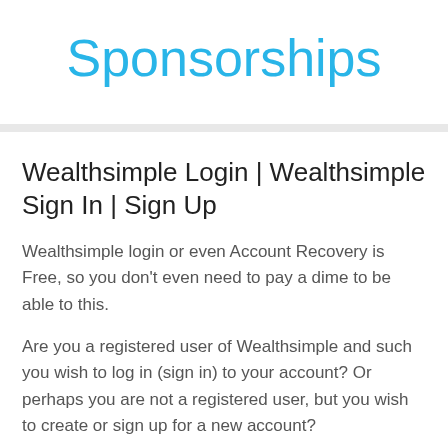Sponsorships
Wealthsimple Login | Wealthsimple Sign In | Sign Up
Wealthsimple login or even Account Recovery is Free, so you don't even need to pay a dime to be able to this.
Are you a registered user of Wealthsimple and such you wish to log in (sign in) to your account? Or perhaps you are not a registered user, but you wish to create or sign up for a new account?